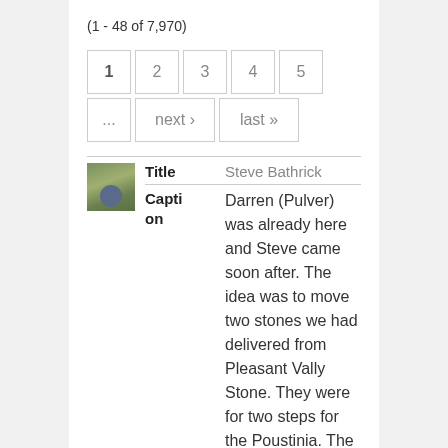(1 - 48 of 7,970)
Pagination: 1 2 3 4 5 ... next › last »
[Figure (photo): Small thumbnail photo of a person outdoors in a natural setting with trees/foliage]
| Field | Value |
| --- | --- |
| Title | Steve Bathrick |
| Caption | Darren (Pulver) was already here and Steve came soon after. The idea was to move two stones we had delivered from Pleasant Vally Stone. They were for two steps for the Poustinia. The little one |
Darren (Pulver) was already here and Steve came soon after. The idea was to move two stones we had delivered from Pleasant Vally Stone. They were for two steps for the Poustinia. The little one